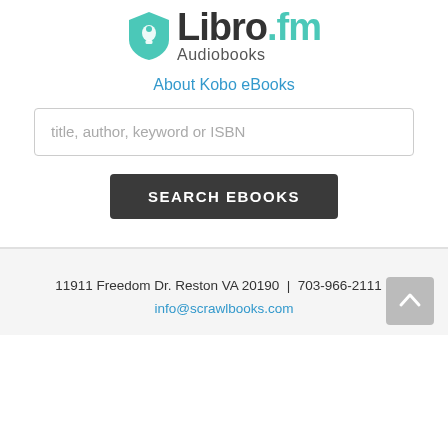[Figure (logo): Libro.fm Audiobooks logo with teal shield icon and wordmark]
About Kobo eBooks
title, author, keyword or ISBN
SEARCH EBOOKS
11911 Freedom Dr. Reston VA 20190 | 703-966-2111 | info@scrawlbooks.com